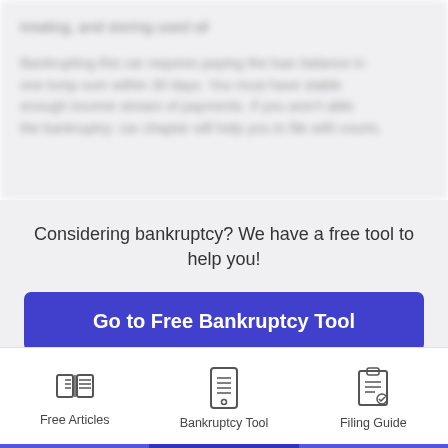[blurred article text - partially visible above fold]
Considering bankruptcy? We have a free tool to help you!
Go to Free Bankruptcy Tool
Keep Reading
Free Articles
Bankruptcy Tool
Filing Guide